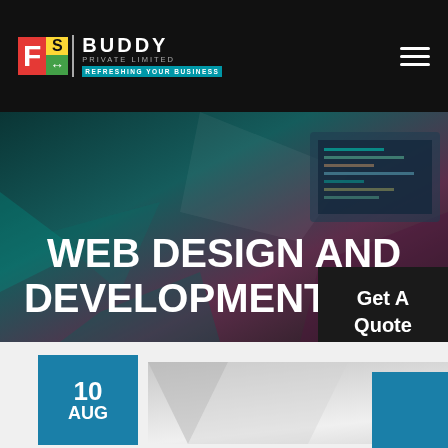FS BUDDY PRIVATE LIMITED | REFRESHING YOUR BUSINESS
WEB DESIGN AND DEVELOPMENT BLOG
Get A Quote
[Figure (screenshot): Website screenshot showing FS Buddy Private Limited website header with logo, hero banner reading 'WEB DESIGN AND DEVELOPMENT BLOG', a Get A Quote button, date badge showing '10 AUG', and an article thumbnail with the FS Buddy logo]
10 AUG